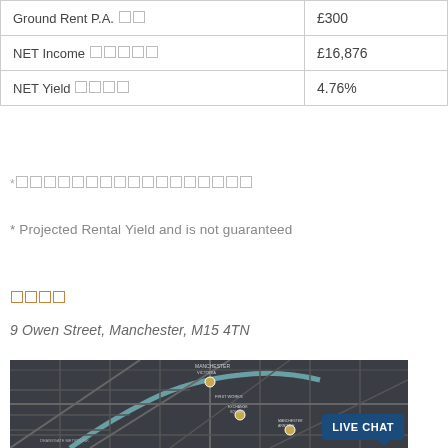| Field | Value |
| --- | --- |
| Ground Rent P.A. □□ | £300 |
| NET Income □□□□□ | £16,876 |
| NET Yield □□□□ | 4.76% |
*□□□□□□□□□□□□□□□□□
* Projected Rental Yield and is not guaranteed
□□□□
9 Owen Street, Manchester, M15 4TN
[Figure (map): Dark map of Manchester city centre showing streets and landmarks near M15 4TN, with a Live Chat button overlay]